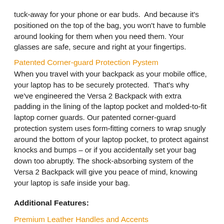tuck-away for your phone or ear buds.  And because it's positioned on the top of the bag, you won't have to fumble around looking for them when you need them. Your glasses are safe, secure and right at your fingertips.
Patented Corner-guard Protection Pystem
When you travel with your backpack as your mobile office, your laptop has to be securely protected.  That's why we've engineered the Versa 2 Backpack with extra padding in the lining of the laptop pocket and molded-to-fit laptop corner guards. Our patented corner-guard protection system uses form-fitting corners to wrap snugly around the bottom of your laptop pocket, to protect against knocks and bumps – or if you accidentally set your bag down too abruptly. The shock-absorbing system of the Versa 2 Backpack will give you peace of mind, knowing your laptop is safe inside your bag.
Additional Features:
Premium Leather Handles and Accents
To nicely round out the classic styling, we used premium leather accents on the black on black Versa 2 Backpack which are subtle, yet striking. Professional and tasteful, the clean, fine…